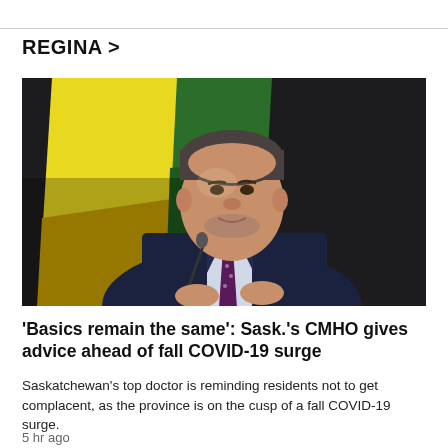REGINA >
[Figure (photo): A man in a dark suit and polka-dot tie speaking at a podium with microphone, with yellow and green flags in the background against a dark curtain — Saskatchewan's Chief Medical Health Officer at a press conference.]
'Basics remain the same': Sask.'s CMHO gives advice ahead of fall COVID-19 surge
Saskatchewan's top doctor is reminding residents not to get complacent, as the province is on the cusp of a fall COVID-19 surge.
5 hr ago